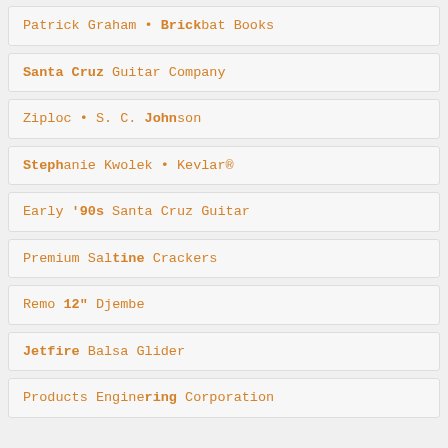Patrick Graham • Brickbat Books
Santa Cruz Guitar Company
Ziploc • S. C. Johnson
Stephanie Kwolek • Kevlar®
Early '90s Santa Cruz Guitar
Premium Saltine Crackers
Remo 12" Djembe
Jetfire Balsa Glider
Products Engineering Corporation